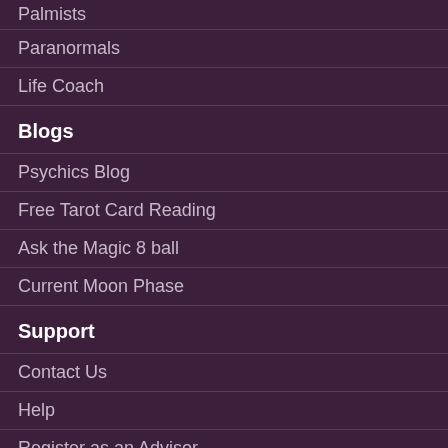Palmists
Paranormals
Life Coach
Blogs
Psychics Blog
Free Tarot Card Reading
Ask the Magic 8 ball
Current Moon Phase
Support
Contact Us
Help
Register as an Advisor
Policies